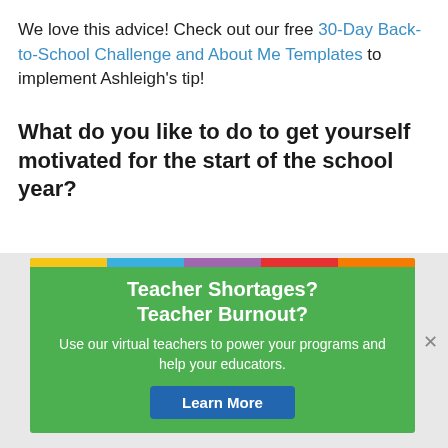We love this advice! Check out our free 30-Day Back-to-School Challenge and About Me Templates to implement Ashleigh's tip!
What do you like to do to get yourself motivated for the start of the school year?
[Figure (infographic): Advertisement banner for teacher shortage/burnout with green background, colorful top bar, title 'Teacher Shortages? Teacher Burnout?', body text 'Use our virtual teachers to power your programs and help your educators.', and a 'Learn More' blue button.]